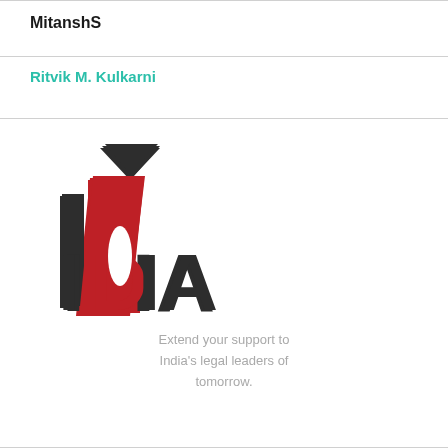MitanshS
Ritvik M. Kulkarni
[Figure (logo): IDIA logo — a stylized open book/door shape in red and dark gray with a dark triangular arrow on top, spelling IDIA in large bold letters]
Extend your support to India's legal leaders of tomorrow.